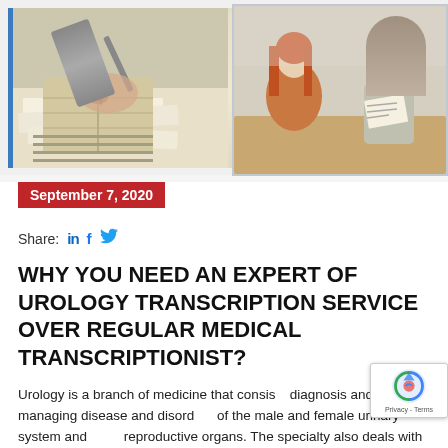[Figure (photo): Two photos side by side: left shows a hand writing in a notebook with papers on desk (blue left border); right shows two people in a meeting, one holding documents.]
September 7, 2020
Share:  in  f  🐦
WHY YOU NEED AN EXPERT OF UROLOGY TRANSCRIPTION SERVICE OVER REGULAR MEDICAL TRANSCRIPTIONIST?
Urology is a branch of medicine that consists diagnosis and managing disease and disorders of the male and female urinary system and male reproductive organs. The specialty also deals with